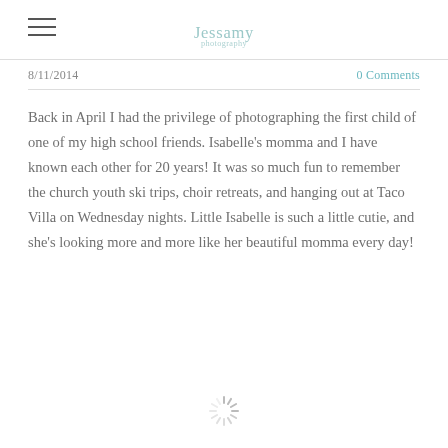[hamburger menu] [logo: cursive signature]
8/11/2014
0 Comments
Back in April I had the privilege of photographing the first child of one of my high school friends.  Isabelle's momma and I have known each other for 20 years!  It was so much fun to remember the church youth ski trips, choir retreats, and hanging out at Taco Villa on Wednesday nights.  Little Isabelle is such a little cutie, and she's looking more and more like her beautiful momma every day!
[Figure (other): Loading spinner / sun-burst icon at bottom center of page]